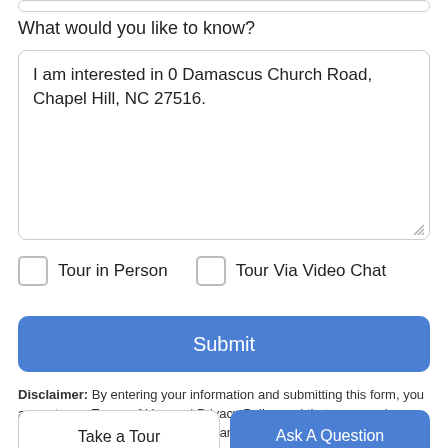What would you like to know?
I am interested in 0 Damascus Church Road, Chapel Hill, NC 27516.
Tour in Person
Tour Via Video Chat
Submit
Disclaimer: By entering your information and submitting this form, you agree to our Terms of Use and Privacy Policy and that you may be contacted by phone, text message and email about your inquiry.
Take a Tour
Ask A Question